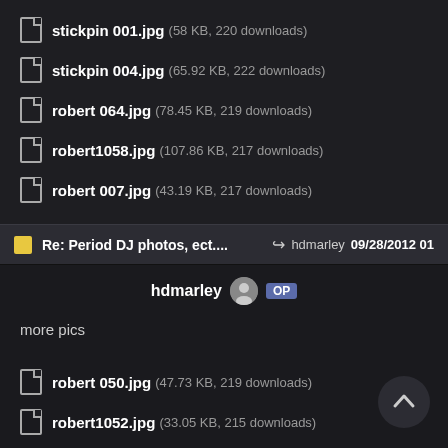stickpin 001.jpg (58 KB, 220 downloads)
stickpin 004.jpg (65.92 KB, 222 downloads)
robert 064.jpg (78.45 KB, 219 downloads)
robert1058.jpg (107.86 KB, 217 downloads)
robert 007.jpg (43.19 KB, 217 downloads)
Re: Period DJ photos, ect.... → hdmarley 09/28/2012 01
hdmarley OP
more pics
robert 050.jpg (47.73 KB, 219 downloads)
robert1052.jpg (33.05 KB, 215 downloads)
robert1053.jpg (35.17 KB, 214 downloads)
robert 018.jpg (42.67 KB, 213 downloads)